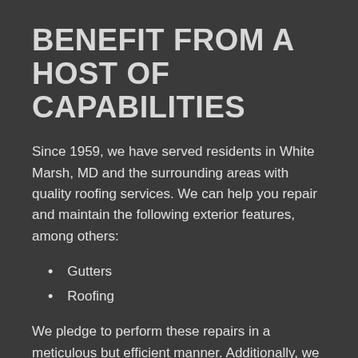BENEFIT FROM A HOST OF CAPABILITIES
Since 1959, we have served residents in White Marsh, MD and the surrounding areas with quality roofing services. We can help you repair and maintain the following exterior features, among others:
Gutters
Roofing
We pledge to perform these repairs in a meticulous but efficient manner. Additionally, we can help you negotiate with your insurance company after mishaps to guarantee that your insurer pays for the repairs, not you.